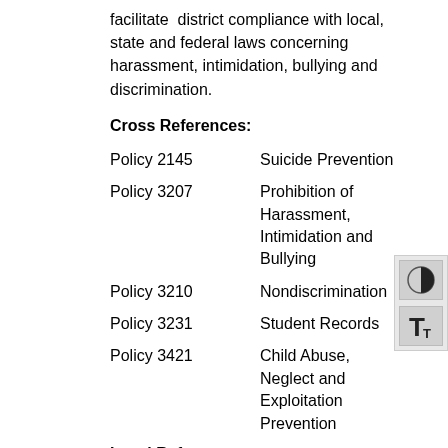facilitate district compliance with local, state and federal laws concerning harassment, intimidation, bullying and discrimination.
Cross References:
Policy 2145    Suicide Prevention
Policy 3207    Prohibition of Harassment, Intimidation and Bullying
Policy 3210    Nondiscrimination
Policy 3231    Student Records
Policy 3421    Child Abuse, Neglect and Exploitation Prevention
Legal References:
Chapter 28A.642, RCW    Discrimination